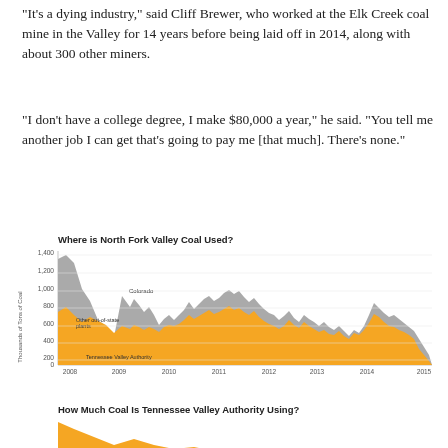“It’s a dying industry,” said Cliff Brewer, who worked at the Elk Creek coal mine in the Valley for 14 years before being laid off in 2014, along with about 300 other miners.
“I don’t have a college degree, I make $80,000 a year,” he said. “You tell me another job I can get that’s going to pay me [that much]. There’s none.”
[Figure (area-chart): Stacked area chart showing North Fork Valley coal usage from 2008 to 2015, with orange area representing Tennessee Valley Authority and gray area representing Colorado and Other out-of-state plants. Values range from 0 to about 1400 thousand tons.]
[Figure (area-chart): Partial area chart showing Tennessee Valley Authority coal usage, orange area, partially visible at bottom of page.]